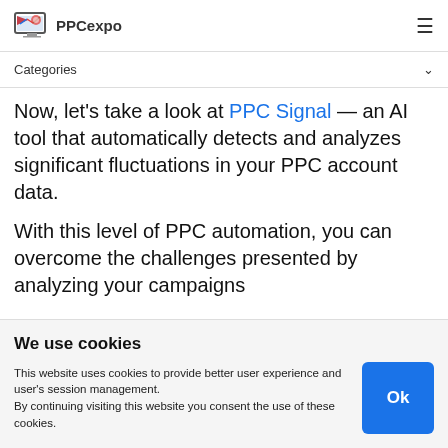PPCexpo
Categories
Now, let's take a look at PPC Signal — an AI tool that automatically detects and analyzes significant fluctuations in your PPC account data.
With this level of PPC automation, you can overcome the challenges presented by analyzing your campaigns
We use cookies
This website uses cookies to provide better user experience and user's session management. By continuing visiting this website you consent the use of these cookies.